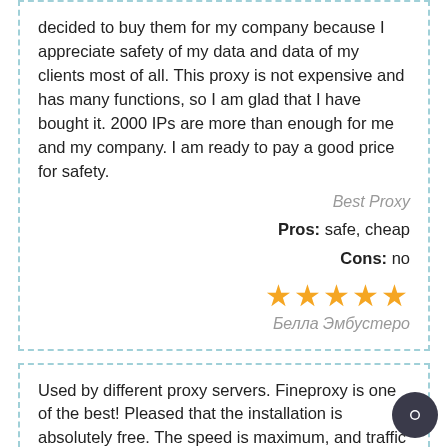decided to buy them for my company because I appreciate safety of my data and data of my clients most of all. This proxy is not expensive and has many functions, so I am glad that I have bought it. 2000 IPs are more than enough for me and my company. I am ready to pay a good price for safety.
Best Proxy
Pros: safe, cheap
Cons: no
★★★★★
Белла Эмбустеро
Used by different proxy servers. Fineproxy is one of the best! Pleased that the installation is absolutely free. The speed is maximum, and traffic is unlimited! I have been using for three